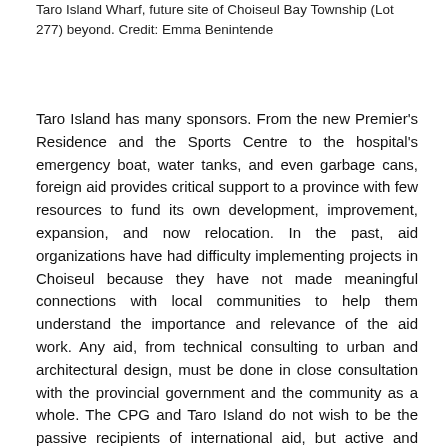Taro Island Wharf, future site of Choiseul Bay Township (Lot 277) beyond. Credit: Emma Benintende
Taro Island has many sponsors. From the new Premier's Residence and the Sports Centre to the hospital's emergency boat, water tanks, and even garbage cans, foreign aid provides critical support to a province with few resources to fund its own development, improvement, expansion, and now relocation. In the past, aid organizations have had difficulty implementing projects in Choiseul because they have not made meaningful connections with local communities to help them understand the importance and relevance of the aid work. Any aid, from technical consulting to urban and architectural design, must be done in close consultation with the provincial government and the community as a whole. The CPG and Taro Island do not wish to be the passive recipients of international aid, but active and equal partners in the planning of Choiseul Bay Township.